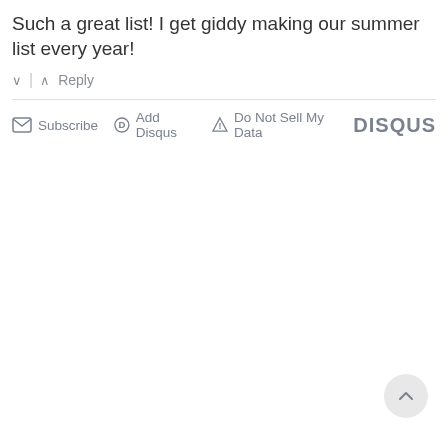Such a great list! I get giddy making our summer list every year!
^ | v  Reply
Subscribe  Add Disqus  Do Not Sell My Data  DISQUS